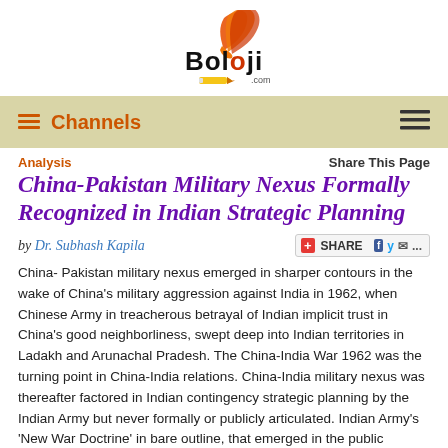[Figure (logo): Boloji.com logo with orange/red bird graphic above bold text 'Boloji' with a pencil and '.com' beneath]
≡Channels
Analysis
Share This Page
China-Pakistan Military Nexus Formally Recognized in Indian Strategic Planning
by Dr. Subhash Kapila
China- Pakistan military nexus emerged in sharper contours in the wake of China's military aggression against India in 1962, when Chinese Army in treacherous betrayal of Indian implicit trust in China's good neighborliness, swept deep into Indian territories in Ladakh and Arunachal Pradesh. The China-India War 1962 was the turning point in China-India relations. China-India military nexus was thereafter factored in Indian contingency strategic planning by the Indian Army but never formally or publicly articulated. Indian Army's 'New War Doctrine' in bare outline, that emerged in the public domain in end-December 2009, for the first time publicly asserts that the Indian Army is prepared to face simultaneous military threats to India from China and Pakistan. Laudable as that